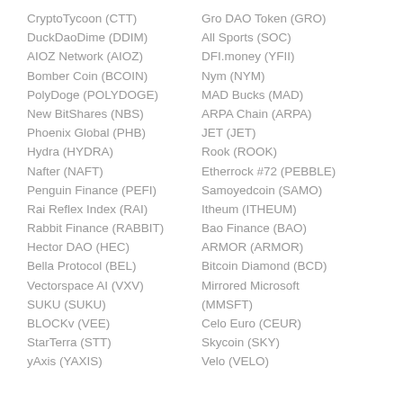CryptoTycoon (CTT)
DuckDaoDime (DDIM)
AIOZ Network (AIOZ)
Bomber Coin (BCOIN)
PolyDoge (POLYDOGE)
New BitShares (NBS)
Phoenix Global (PHB)
Hydra (HYDRA)
Nafter (NAFT)
Penguin Finance (PEFI)
Rai Reflex Index (RAI)
Rabbit Finance (RABBIT)
Hector DAO (HEC)
Bella Protocol (BEL)
Vectorspace AI (VXV)
SUKU (SUKU)
BLOCKv (VEE)
StarTerra (STT)
yAxis (YAXIS)
Gro DAO Token (GRO)
All Sports (SOC)
DFI.money (YFII)
Nym (NYM)
MAD Bucks (MAD)
ARPA Chain (ARPA)
JET (JET)
Rook (ROOK)
Etherrock #72 (PEBBLE)
Samoyedcoin (SAMO)
Itheum (ITHEUM)
Bao Finance (BAO)
ARMOR (ARMOR)
Bitcoin Diamond (BCD)
Mirrored Microsoft (MMSFT)
Celo Euro (CEUR)
Skycoin (SKY)
Velo (VELO)